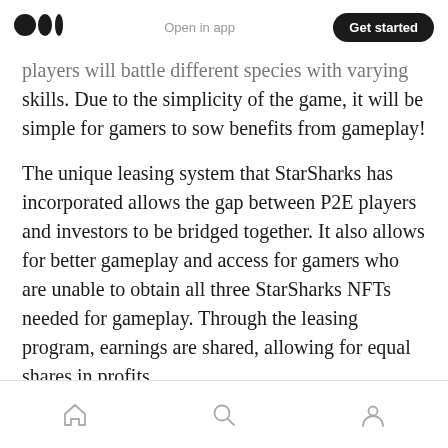Open in app | Get started
players will battle different species with varying skills. Due to the simplicity of the game, it will be simple for gamers to sow benefits from gameplay!
The unique leasing system that StarSharks has incorporated allows the gap between P2E players and investors to be bridged together. It also allows for better gameplay and access for gamers who are unable to obtain all three StarSharks NFTs needed for gameplay. Through the leasing program, earnings are shared, allowing for equal shares in profits.
Home | Search | Profile